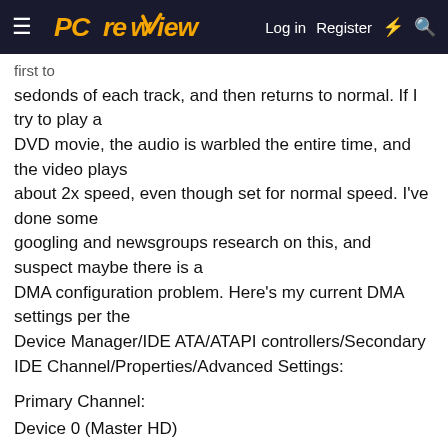PCreview — Log in | Register
first to sedonds of each track, and then returns to normal. If I try to play a DVD movie, the audio is warbled the entire time, and the video plays about 2x speed, even though set for normal speed. I've done some googling and newsgroups research on this, and suspect maybe there is a DMA configuration problem. Here's my current DMA settings per the Device Manager/IDE ATA/ATAPI controllers/Secondary IDE Channel/Properties/Advanced Settings:
Primary Channel:
Device 0 (Master HD)
Transfer Mode: DMA if available
Current Transfer Mode: UDMA Mode 5
Device 1 (Slave HD)
Transfer Mode: DMA if available